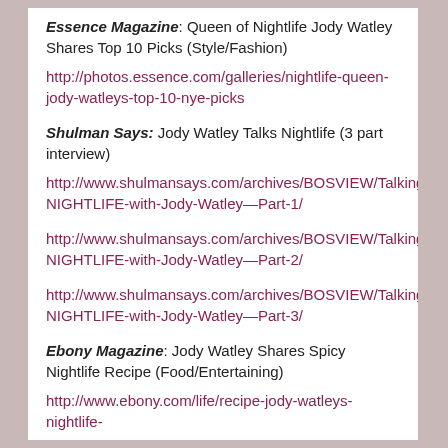Essence Magazine: Queen of Nightlife Jody Watley Shares Top 10 Picks (Style/Fashion)
http://photos.essence.com/galleries/nightlife-queen-jody-watleys-top-10-nye-picks
Shulman Says: Jody Watley Talks Nightlife (3 part interview)
http://www.shulmansays.com/archives/BOSVIEW/Talking-NIGHTLIFE-with-Jody-Watley—Part-1/
http://www.shulmansays.com/archives/BOSVIEW/Talking-NIGHTLIFE-with-Jody-Watley—Part-2/
http://www.shulmansays.com/archives/BOSVIEW/Talking-NIGHTLIFE-with-Jody-Watley—Part-3/
Ebony Magazine: Jody Watley Shares Spicy Nightlife Recipe (Food/Entertaining)
http://www.ebony.com/life/recipe-jody-watleys-nightlife-